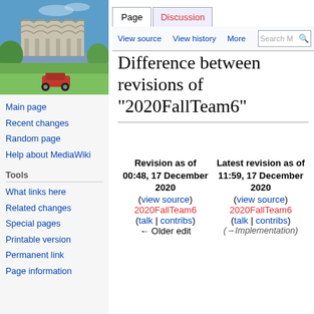Log in
[Figure (photo): Photo of a futuristic concrete library building (UCSD Geisel Library) with blue sky and trees, and an RC car in the foreground on grass]
Main page
Recent changes
Random page
Help about MediaWiki
Tools
What links here
Related changes
Special pages
Printable version
Permanent link
Page information
Difference between revisions of "2020FallTeam6"
| Revision as of 00:48, 17 December 2020 (view source)
2020FallTeam6
(talk | contribs)
← Older edit | Latest revision as of 11:59, 17 December 2020 (view source)
2020FallTeam6
(talk | contribs)
(→Implementation) |
| --- | --- |